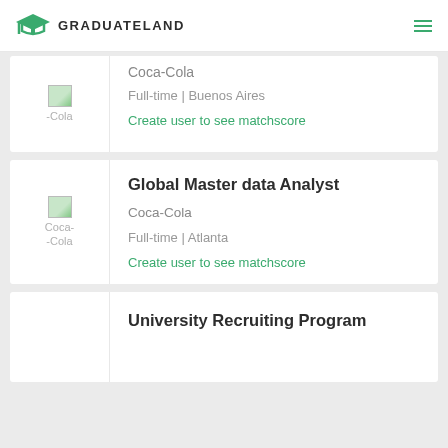GRADUATELAND
Coca-Cola
Full-time | Buenos Aires
Create user to see matchscore
Global Master data Analyst
Coca-Cola
Full-time | Atlanta
Create user to see matchscore
University Recruiting Program